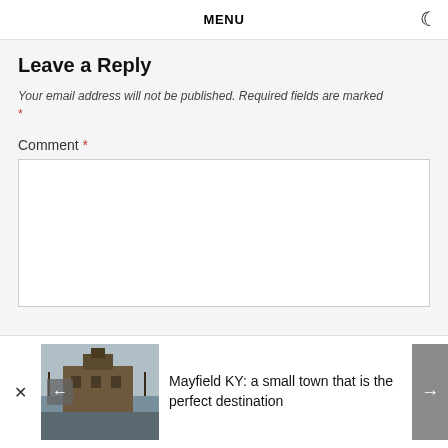MENU
Leave a Reply
Your email address will not be published. Required fields are marked *
Comment *
[Figure (screenshot): Empty comment textarea input box]
Mayfield KY: a small town that is the perfect destination